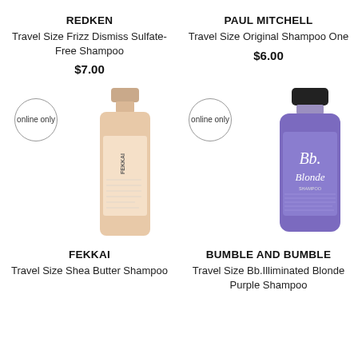REDKEN
Travel Size Frizz Dismiss Sulfate-Free Shampoo
$7.00
PAUL MITCHELL
Travel Size Original Shampoo One
$6.00
[Figure (photo): Travel size Fekkai shea butter shampoo bottle, nude/blush color with black cap, with 'online only' badge]
[Figure (photo): Travel size Bumble and Bumble Blonde purple shampoo bottle, purple color with black cap, with 'online only' badge]
FEKKAI
Travel Size Shea Butter Shampoo
BUMBLE AND BUMBLE
Travel Size Bb.Illiminated Blonde Purple Shampoo